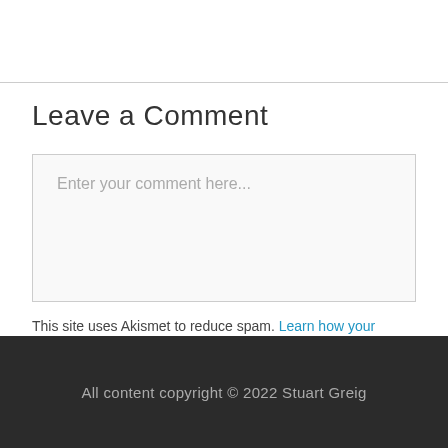Leave a Comment
Enter your comment here...
This site uses Akismet to reduce spam. Learn how your comment data is processed.
All content copyright © 2022 Stuart Greig